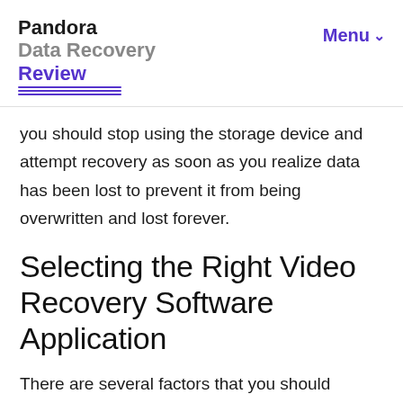Pandora Data Recovery Review | Menu
you should stop using the storage device and attempt recovery as soon as you realize data has been lost to prevent it from being overwritten and lost forever.
Selecting the Right Video Recovery Software Application
There are several factors that you should